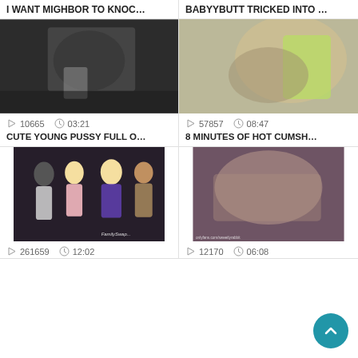I WANT MIGHBOR TO KNOC...
[Figure (photo): Close-up photo thumbnail for video]
10665   03:21
CUTE YOUNG PUSSY FULL O...
BABYYBUTT TRICKED INTO ...
[Figure (photo): Close-up photo thumbnail for video]
57857   08:47
8 MINUTES OF HOT CUMSH...
[Figure (photo): Group scene video thumbnail with watermark FamilySwap]
261659   12:02
[Figure (photo): Couple scene video thumbnail with onlyfans.com/sweetlyrabbit watermark]
12170   06:08